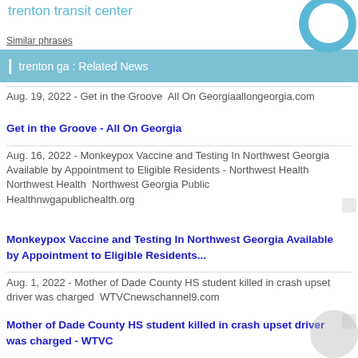trenton transit center
Similar phrases
trenton ga : Related News
Aug. 19, 2022 - Get in the Groove  All On Georgiaallongeorgia.com
Get in the Groove - All On Georgia
Aug. 16, 2022 - Monkeypox Vaccine and Testing In Northwest Georgia Available by Appointment to Eligible Residents - Northwest Health Northwest Health  Northwest Georgia Public Healthnwgapublichealth.org
Monkeypox Vaccine and Testing In Northwest Georgia Available by Appointment to Eligible Residents...
Aug. 1, 2022 - Mother of Dade County HS student killed in crash upset driver was charged  WTVCnewschannel9.com
Mother of Dade County HS student killed in crash upset driver was charged - WTVC